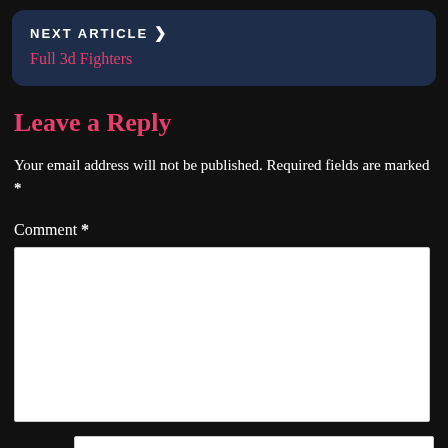NEXT ARTICLE > Full 3d Fighters
Leave a Reply
Your email address will not be published. Required fields are marked *
Comment *
[Figure (screenshot): Empty comment textarea input box]
Name *
[Figure (screenshot): Empty name text input box]